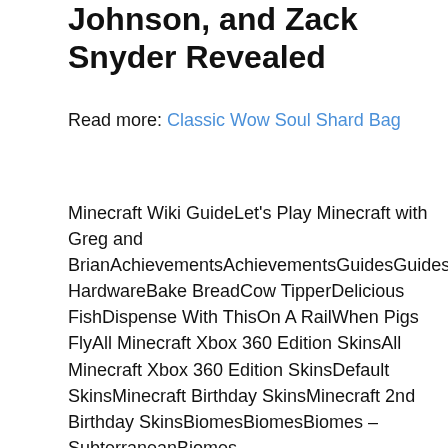Johnson, and Zack Snyder Revealed
Read more: Classic Wow Soul Shard Bag
Minecraft Wiki GuideLet's Play Minecraft with Greg and BrianAchievementsAchievementsGuidesGuidesAcquire HardwareBake BreadCow TipperDelicious FishDispense With ThisOn A RailWhen Pigs FlyAll Minecraft Xbox 360 Edition SkinsAll Minecraft Xbox 360 Edition SkinsDefault SkinsMinecraft Birthday SkinsMinecraft 2nd Birthday SkinsBiomesBiomesBiomes – SubterraneanBiomes – SubterraneanCaveDungeonMineshaftsBiomes – SurfaceBiomes – SurfaceDesertForestJungle BiomesMountainMushroom IslandOceanSwampTundraNetherThe EndWorld